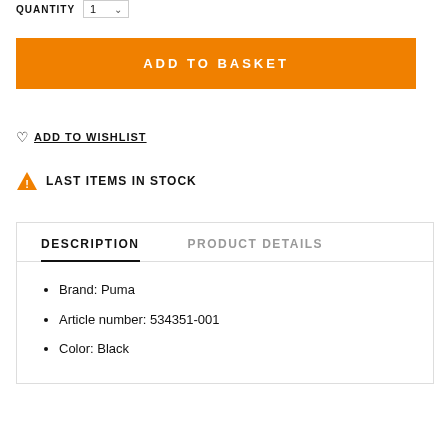QUANTITY  1 ▾
ADD TO BASKET
♡ ADD TO WISHLIST
⚠ LAST ITEMS IN STOCK
DESCRIPTION
PRODUCT DETAILS
Brand: Puma
Article number: 534351-001
Color: Black